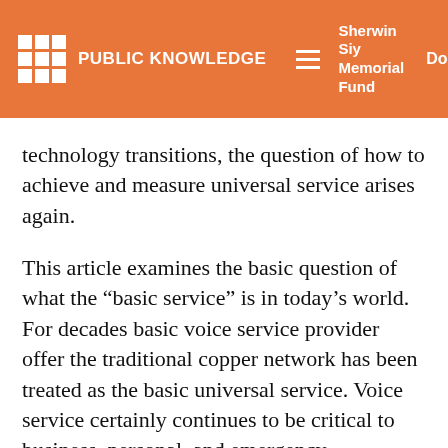PUBLIC KNOWLEDGE | Sherwin Siy Memorial Fund | Donate
technology transitions, the question of how to achieve and measure universal service arises again.
This article examines the basic question of what the “basic service” is in today’s world. For decades basic voice service provider offer the traditional copper network has been treated as the basic universal service. Voice service certainly continues to be critical to business, personal, and emergency